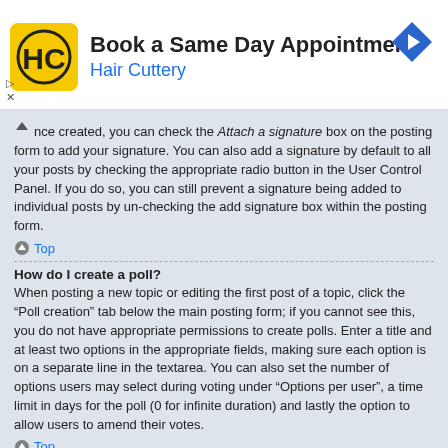[Figure (screenshot): Advertisement banner for Hair Cuttery - Book a Same Day Appointment, with logo and navigation arrow icon]
nce created, you can check the Attach a signature box on the posting form to add your signature. You can also add a signature by default to all your posts by checking the appropriate radio button in the User Control Panel. If you do so, you can still prevent a signature being added to individual posts by un-checking the add signature box within the posting form.
Top
How do I create a poll?
When posting a new topic or editing the first post of a topic, click the “Poll creation” tab below the main posting form; if you cannot see this, you do not have appropriate permissions to create polls. Enter a title and at least two options in the appropriate fields, making sure each option is on a separate line in the textarea. You can also set the number of options users may select during voting under “Options per user”, a time limit in days for the poll (0 for infinite duration) and lastly the option to allow users to amend their votes.
Top
Why can’t I add more poll options?
The limit for poll options is set by the board administrator. If you feel you need to add more options to your poll than the allowed amount, contact the board